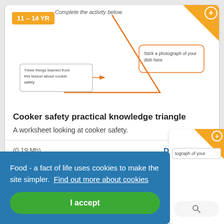[Figure (illustration): Worksheet preview showing an orange knowledge triangle diagram with text boxes: '11-14 YR' age badge, 'Three things learned from this lesson about cooker safety', 'Stick a photograph of your dish here', orange triangle shape, corner plus button]
Cooker safety practical knowledge triangle
A worksheet looking at cooker safety.
(0.19 Mb)
Download
Food - a fact of life uses cookies to make the site simpler. Find out more about cookies
I accept